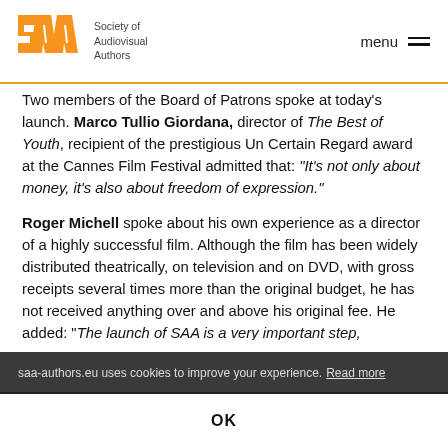SAA – Society of Audiovisual Authors | menu
Two members of the Board of Patrons spoke at today's launch. Marco Tullio Giordana, director of The Best of Youth, recipient of the prestigious Un Certain Regard award at the Cannes Film Festival admitted that: "It's not only about money, it's also about freedom of expression."
Roger Michell spoke about his own experience as a director of a highly successful film. Although the film has been widely distributed theatrically, on television and on DVD, with gross receipts several times more than the original budget, he has not received anything over and above his original fee. He added: "The launch of SAA is a very important step, particularly for British film directors who were only recognised as authors in 1996 thanks to a European directive. Authors throughout Europe have to work together."
saa-authors.eu uses cookies to improve your experience. Read more | OK